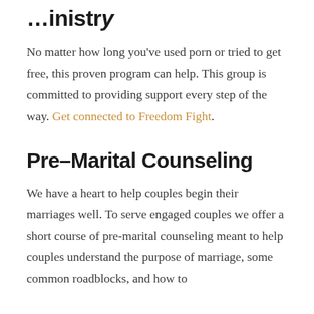...inistr...
No matter how long you've used porn or tried to get free, this proven program can help. This group is committed to providing support every step of the way. Get connected to Freedom Fight.
Pre-Marital Counseling
We have a heart to help couples begin their marriages well. To serve engaged couples we offer a short course of pre-marital counseling meant to help couples understand the purpose of marriage, some common roadblocks, and how to